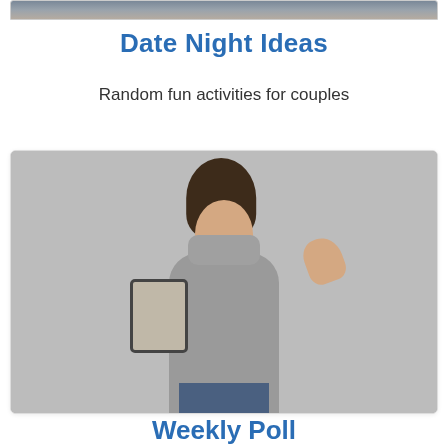[Figure (photo): Partial photo of a couple at the very top of the page (cropped, only bottom portion visible)]
Date Night Ideas
Random fun activities for couples
[Figure (photo): Woman in gray turtleneck sweater with scarf holding a tablet and raising her hand, against a gray background]
Weekly Poll